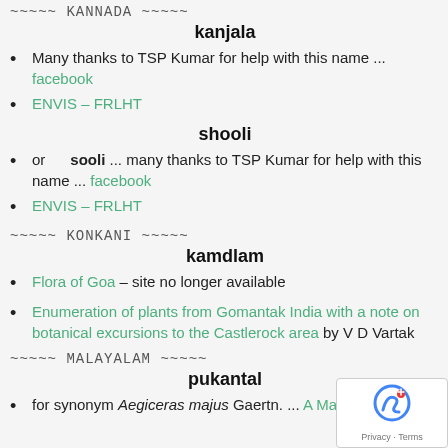~~~~~ KANNADA ~~~~~
kanjala
Many thanks to TSP Kumar for help with this name ... facebook
ENVIS – FRLHT
shooli
or   sooli ... many thanks to TSP Kumar for help with this name ... facebook
ENVIS – FRLHT
~~~~~ KONKANI ~~~~~
kamdlam
Flora of Goa – site no longer available
Enumeration of plants from Gomantak India with a note on botanical excursions to the Castlerock area by V D Vartak
~~~~~ MALAYALAM ~~~~~
pukantal
for synonym Aegiceras majus Gaertn. ... A Malayalam and